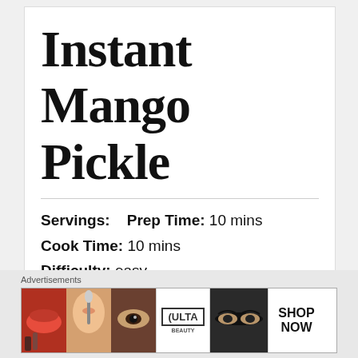Instant Mango Pickle
Servings:   Prep Time: 10 mins
Cook Time: 10 mins
Difficulty: easy
Rating: ★★★★★   Print
Advertisements
[Figure (photo): Advertisement banner for Ulta Beauty showing makeup/beauty images with lips, brush, eyes, Ulta logo, model eyes, and SHOP NOW button]